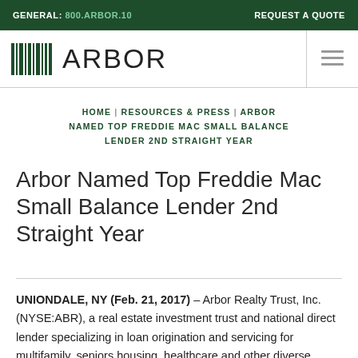GENERAL: 800.ARBOR.10   REQUEST A QUOTE
[Figure (logo): Arbor logo with barcode-style icon and ARBOR wordmark]
HOME | RESOURCES & PRESS | ARBOR NAMED TOP FREDDIE MAC SMALL BALANCE LENDER 2ND STRAIGHT YEAR
Arbor Named Top Freddie Mac Small Balance Lender 2nd Straight Year
UNIONDALE, NY (Feb. 21, 2017) – Arbor Realty Trust, Inc. (NYSE:ABR), a real estate investment trust and national direct lender specializing in loan origination and servicing for multifamily, seniors housing, healthcare and other diverse